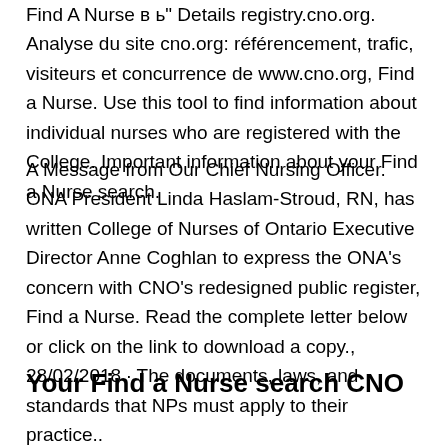Find A Nurse в ь" Details registry.cno.org. Analyse du site cno.org: référencement, trafic, visiteurs et concurrence de www.cno.org, Find a Nurse. Use this tool to find information about individual nurses who are registered with the College. Important information about your Find a Nurse search.
A Message from Our Chief Nursing Officer. ONA President Linda Haslam-Stroud, RN, has written College of Nurses of Ontario Executive Director Anne Coghlan to express the ONA's concern with CNO's redesigned public register, Find a Nurse. Read the complete letter below or click on the link to download a copy., 28/02/2018 · The documents, laws, and standards that NPs must apply to their practice..
Your Find a Nurse search CNO